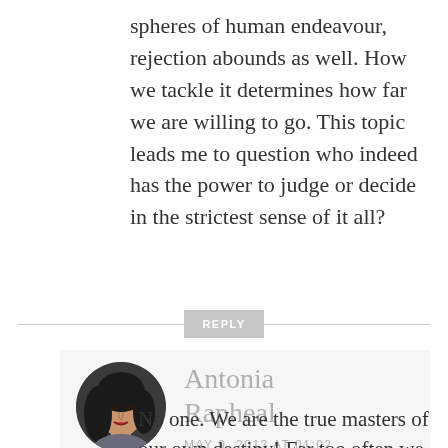spheres of human endeavour, rejection abounds as well. How we tackle it determines how far we are willing to go. This topic leads me to question who indeed has the power to judge or decide in the strictest sense of it all?
REPLY
[Figure (photo): Circular avatar photo of Antonia Rapheal, a woman with dark hair]
Antonia Rapheal
MAY 9, 2013 AT 01:02
No one. We are the true masters of our own destiny! Far too often we